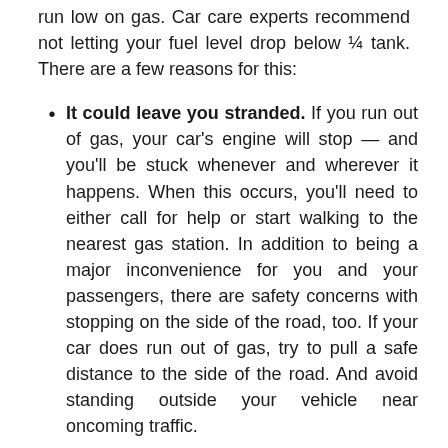run low on gas. Car care experts recommend not letting your fuel level drop below ¼ tank. There are a few reasons for this:
It could leave you stranded. If you run out of gas, your car's engine will stop — and you'll be stuck whenever and wherever it happens. When this occurs, you'll need to either call for help or start walking to the nearest gas station. In addition to being a major inconvenience for you and your passengers, there are safety concerns with stopping on the side of the road, too. If your car does run out of gas, try to pull a safe distance to the side of the road. And avoid standing outside your vehicle near oncoming traffic.
It can damage your vehicle. As if being stuck on